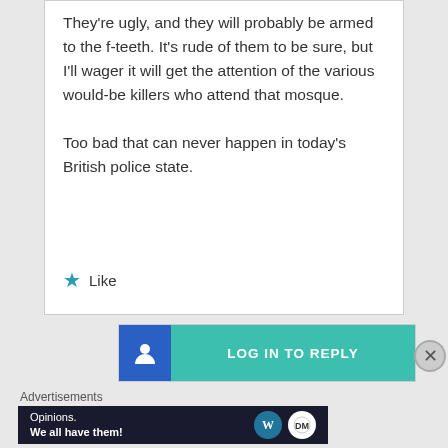They're ugly, and they will probably be armed to the f-teeth. It's rude of them to be sure, but I'll wager it will get the attention of the various would-be killers who attend that mosque.

Too bad that can never happen in today's British police state.
Like
[Figure (screenshot): Log in to reply button with blue icon on left and teal/green background on right showing 'LOG IN TO REPLY' text]
Advertisements
[Figure (screenshot): Advertisement banner: dark navy background with 'Opinions. We all have them!' text and WordPress and DailyMotion logos]